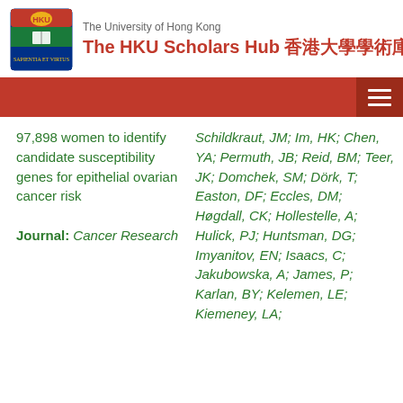The University of Hong Kong — The HKU Scholars Hub 香港大學學術庫
97,898 women to identify candidate susceptibility genes for epithelial ovarian cancer risk Journal: Cancer Research
Schildkraut, JM; Im, HK; Chen, YA; Permuth, JB; Reid, BM; Teer, JK; Domchek, SM; Dörk, T; Easton, DF; Eccles, DM; Høgdall, CK; Hollestelle, A; Hulick, PJ; Huntsman, DG; Imyanitov, EN; Isaacs, C; Jakubowska, A; James, P; Karlan, BY; Kelemen, LE; Kiemeney, LA; Kirov, GK; K...